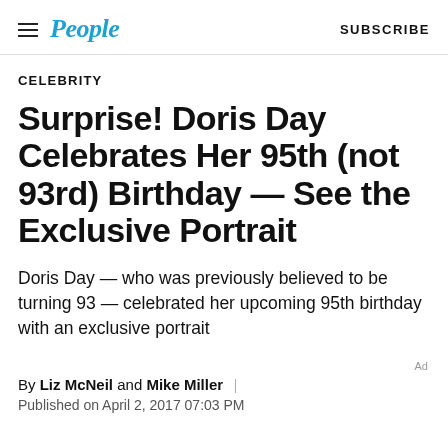People | SUBSCRIBE
CELEBRITY
Surprise! Doris Day Celebrates Her 95th (not 93rd) Birthday — See the Exclusive Portrait
Doris Day — who was previously believed to be turning 93 — celebrated her upcoming 95th birthday with an exclusive portrait
By Liz McNeil and Mike Miller
Published on April 2, 2017 07:03 PM